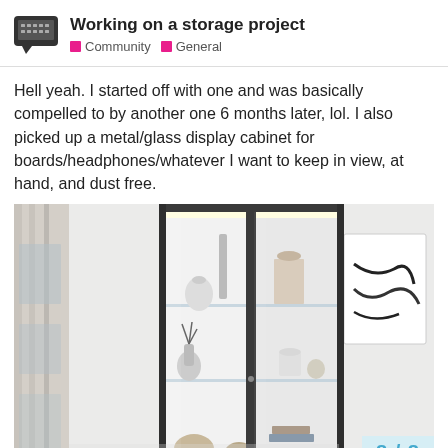Working on a storage project — Community · General
Hell yeah. I started off with one and was basically compelled to by another one 6 months later, lol. I also picked up a metal/glass display cabinet for boards/headphones/whatever I want to keep in view, at hand, and dust free.
[Figure (photo): A tall metal and glass display cabinet with glass shelves, displaying decorative objects, set against a white wall with artwork and a curtain visible.]
8 / 8